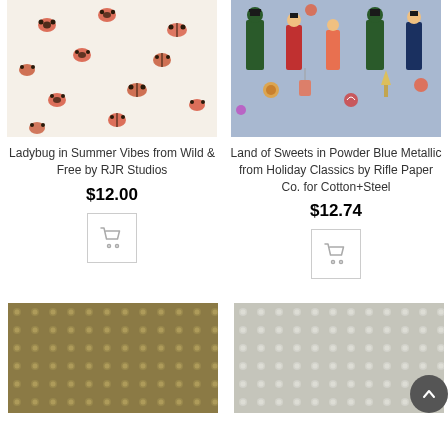[Figure (photo): Ladybug fabric pattern on cream background]
[Figure (photo): Holiday nutcracker and sweets fabric pattern on powder blue background]
Ladybug in Summer Vibes from Wild & Free by RJR Studios
Land of Sweets in Powder Blue Metallic from Holiday Classics by Rifle Paper Co. for Cotton+Steel
$12.00
$12.74
[Figure (photo): Gold/khaki polka dot fabric texture]
[Figure (photo): Gray polka dot fabric texture]